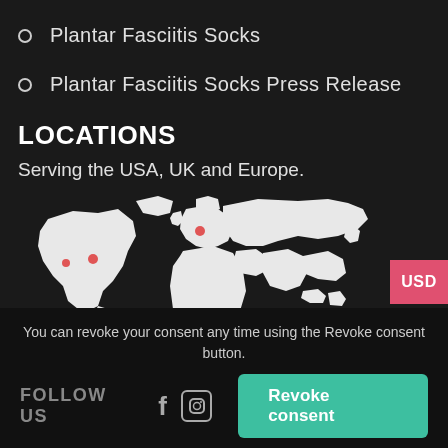Plantar Fasciitis Socks
Plantar Fasciitis Socks Press Release
LOCATIONS
Serving the USA, UK and Europe.
[Figure (map): World map in white on dark background with red location dots marking USA and Europe regions]
You can revoke your consent any time using the Revoke consent button.
FOLLOW US   [Facebook icon] [Instagram icon]   Revoke consent